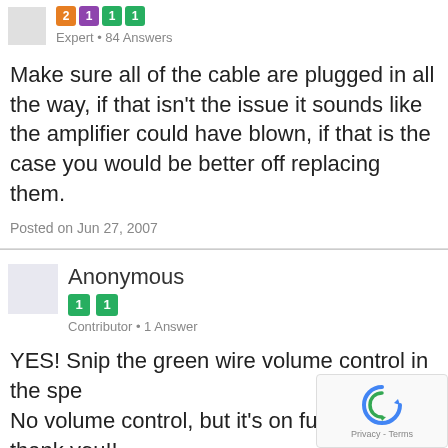Expert • 84 Answers
Make sure all of the cable are plugged in all the way, if that isn't the issue it sounds like the amplifier could have blown, if that is the case you would be better off replacing them.
Posted on Jun 27, 2007
Anonymous
Contributor • 1 Answer
YES! Snip the green wire volume control in the spe No volume control, but it's on full blast thank you!!